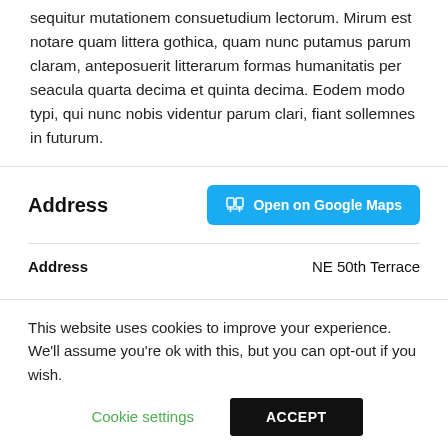sequitur mutationem consuetudium lectorum. Mirum est notare quam littera gothica, quam nunc putamus parum claram, anteposuerit litterarum formas humanitatis per seacula quarta decima et quinta decima. Eodem modo typi, qui nunc nobis videntur parum clari, fiant sollemnes in futurum.
Address
| Address |  |
| --- | --- |
| Address | NE 50th Terrace |
This website uses cookies to improve your experience. We'll assume you're ok with this, but you can opt-out if you wish.
Cookie settings    ACCEPT